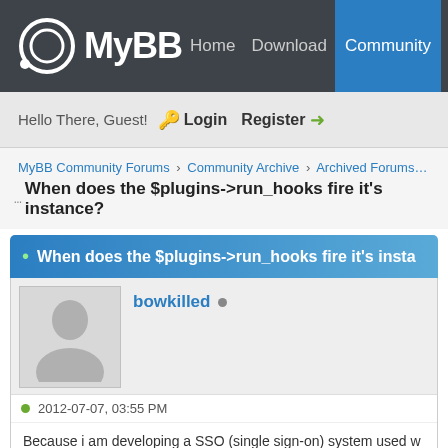MyBB Home Download Community Extend Do
Hello There, Guest! Login Register
MyBBCommunityForums › CommunityArchive › ArchivedForums › Archiv
When does the $plugins->run_hooks fire it's instance?
When does the $plugins->run_hooks fire it's instance?
bowkilled
2012-07-07, 03:55 PM
Because i am developing a SSO (single sign-on) system used w... a password of a mybb user after a password reset, as my fro...